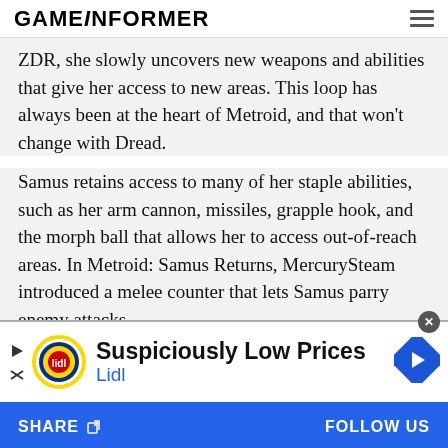GAMEINFORMER
ZDR, she slowly uncovers new weapons and abilities that give her access to new areas. This loop has always been at the heart of Metroid, and that won't change with Dread.
Samus retains access to many of her staple abilities, such as her arm cannon, missiles, grapple hook, and the morph ball that allows her to access out-of-reach areas. In Metroid: Samus Returns, MercurySteam introduced a melee counter that lets Samus parry enemy attacks,
[Figure (screenshot): Lidl advertisement banner: 'Suspiciously Low Prices' with Lidl logo and navigation icon]
SHARE   FOLLOW US